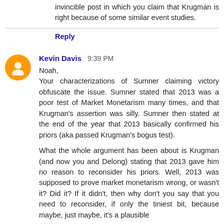invincible post in which you claim that Krugman is right because of some similar event studies.
Reply
Kevin Davis  9:39 PM
Noah,
Your characterizations of Sumner claiming victory obfuscate the issue. Sumner stated that 2013 was a poor test of Market Monetarism many times, and that Krugman's assertion was silly. Sumner then stated at the end of the year that 2013 basically confirmed his priors (aka passed Krugman's bogus test).

What the whole argument has been about is Krugman (and now you and Delong) stating that 2013 gave him no reason to reconsider his priors. Well, 2013 was supposed to prove market monetarism wrong, or wasn't it? Did it? If it didn't, then why don't you say that you need to reconsider, if only the tiniest bit, because maybe, just maybe, it's a plausible theory. Sure future events will cause everyone to